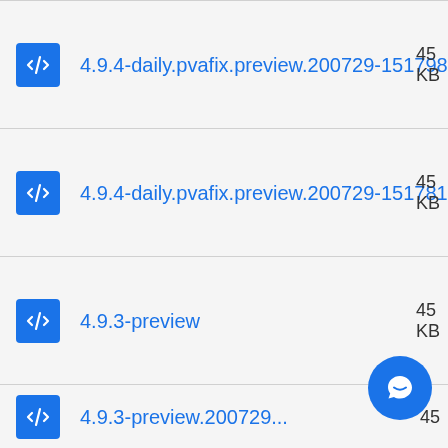4.9.4-daily.pvafix.preview.200729-151798
4.9.4-daily.pvafix.preview.200729-151781
4.9.3-preview
4.9.3-preview.200729...